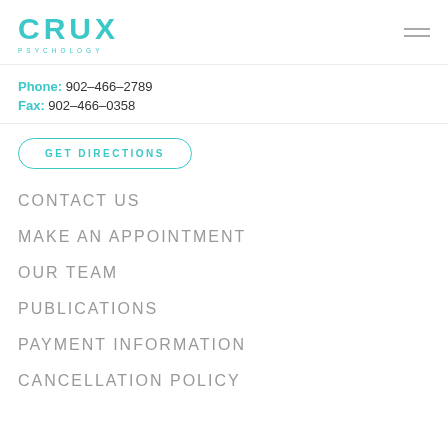[Figure (logo): CRUX PSYCHOLOGY teal/cyan logo with PSYCHOLOGY text below]
Phone: 902-466-2789
Fax: 902-466-0358
GET DIRECTIONS
CONTACT US
MAKE AN APPOINTMENT
OUR TEAM
PUBLICATIONS
PAYMENT INFORMATION
CANCELLATION POLICY